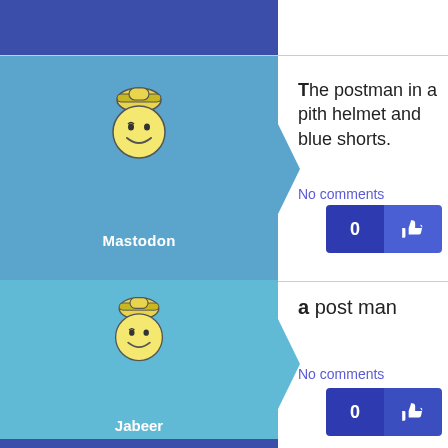[Figure (screenshot): Mastodon mascot icon - smiling face character with hat]
Mastodon
The postman in a pith helmet and blue shorts.
No comments
[Figure (screenshot): Jabeer mascot icon - smiling face character with hat]
Jabeer
a post man
No comments